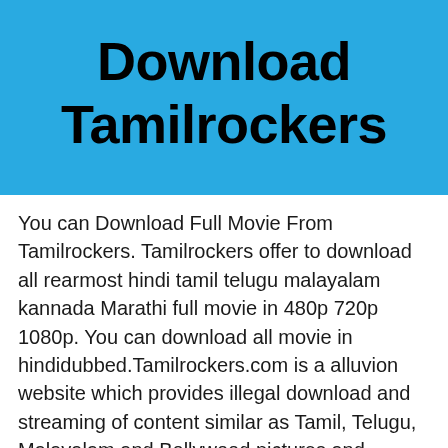Download Tamilrockers
You can Download Full Movie From Tamilrockers. Tamilrockers offer to download all rearmost hindi tamil telugu malayalam kannada Marathi full movie in 480p 720p 1080p. You can download all movie in hindidubbed.Tamilrockers.com is a alluvion website which provides illegal download and streaming of content similar as Tamil, Telugu, Malayalam and Bollywood pictures and Television.